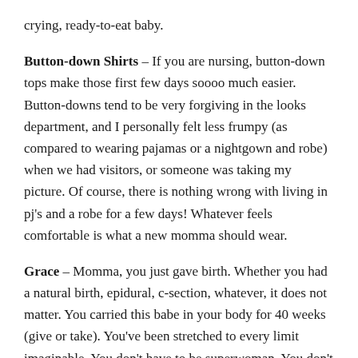crying, ready-to-eat baby.
Button-down Shirts – If you are nursing, button-down tops make those first few days soooo much easier. Button-downs tend to be very forgiving in the looks department, and I personally felt less frumpy (as compared to wearing pajamas or a nightgown and robe) when we had visitors, or someone was taking my picture. Of course, there is nothing wrong with living in pj's and a robe for a few days! Whatever feels comfortable is what a new momma should wear.
Grace – Momma, you just gave birth. Whether you had a natural birth, epidural, c-section, whatever, it does not matter. You carried this babe in your body for 40 weeks (give or take). You've been stretched to every limit imaginable. You don't have to be superwoman. You don't have to have perfection. Enjoy your time with baby as long as you can. No, the sleepless nights aren't easy; sometimes they're not even manageable. The thought of getting